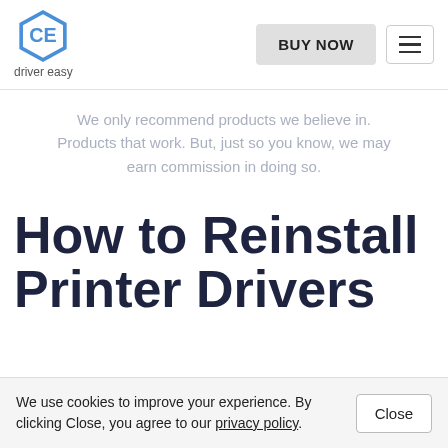[Figure (logo): Driver Easy logo: hexagonal icon with 'CE' letters in blue, with text 'driver easy' below]
We only recommend products we believe in. Products that work. But, just so you know, we may earn commission in doing so.
How to Reinstall Printer Drivers
We use cookies to improve your experience. By clicking Close, you agree to our privacy policy.